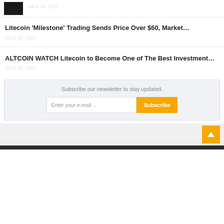[Figure (photo): Small dark thumbnail image at top left]
มม.ม. 20, 2022
Litecoin 'Milestone' Trading Sends Price Over $60, Market…
มม.ม. 20, 2022
ALTCOIN WATCH Litecoin to Become One of The Best Investment…
มม.ม. 20, 2022
Subscribe our newsletter to stay updated.
Enter your e-mail ..
Subscribe